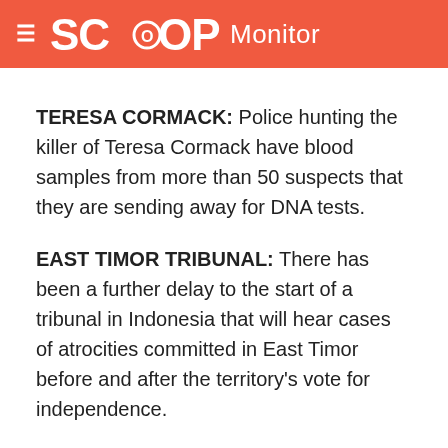SCOOP Monitor
TERESA CORMACK: Police hunting the killer of Teresa Cormack have blood samples from more than 50 suspects that they are sending away for DNA tests.
EAST TIMOR TRIBUNAL: There has been a further delay to the start of a tribunal in Indonesia that will hear cases of atrocities committed in East Timor before and after the territory's vote for independence.
EAST TIMOR ELECTION: Foreign Minister Phil Goff has announced the Government will send four New Zealanders to monitor East Timor's first free elections